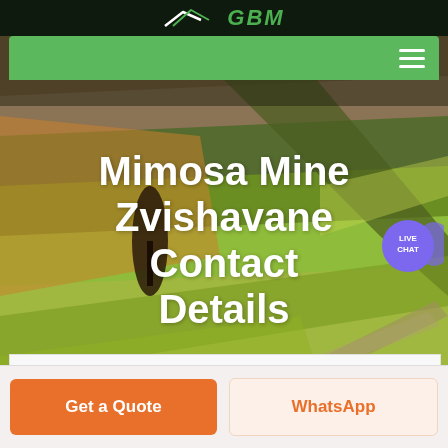GBM
[Figure (screenshot): Mobile website screenshot showing a green navigation bar with hamburger menu, a live chat bubble (purple), and an aerial farmland photograph as hero background]
Mimosa Mine Zvishavane Contact Details
Get a Quote
WhatsApp